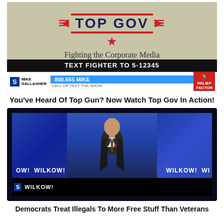[Figure (screenshot): Screenshot of a TV broadcast showing a sign with 'TOP GOV' logo, red star, handwritten text 'Fighting the Corporate Media', text bar 'TEXT FIGHTER TO 5-12345', and lower bar showing Mike Gallagher show with phone number 800.655 MIKE and Relief Factor logo.]
You've Heard Of Top Gun? Now Watch Top Gov In Action!
[Figure (screenshot): Screenshot of Wilkow TV show on Sirius XM/Blaze TV. A male news anchor in a dark suit and tie stands in front of a blue city skyline background. The 'WILKOW!' show name appears in lower thirds on left and right sides.]
Democrats Treat Illegals To More Free Stuff Than Veterans